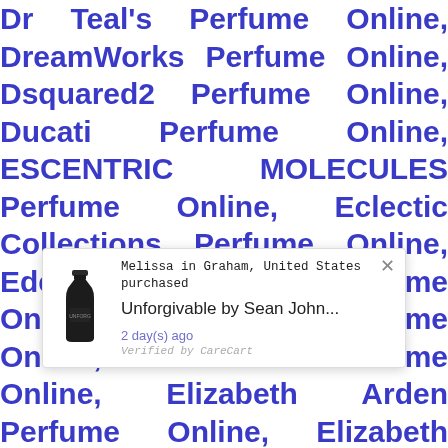Dr Teal's Perfume Online, DreamWorks Perfume Online, Dsquared2 Perfume Online, Ducati Perfume Online, ESCENTRIC MOLECULES Perfume Online, Eclectic Collections Perfume Online, Eden Classics Perfume Online, Eight & Bob Perfume Online, Elie Saab Perfume Online, Elizabeth Arden Perfume Online, Elizabeth Taylor Perfume Online, Elizabeth and James Perfume Online, Ellen Tracy Perfume Online, English Laundry Perfume Online, Enrico Coveri Perfume Online, Enrique Iglesias Perfume Online, Enzo Rossi Perfume Online, Ermenegildo Zegna Perfume Online, Erox Perfume Online, Escada Perfume Online,
[Figure (screenshot): Popup notification showing a recent purchase by Melissa in Graham, United States of 'Unforgivable by Sean John...' 2 day(s) ago. Verified by CareCart. Shows product bottle image on left.]